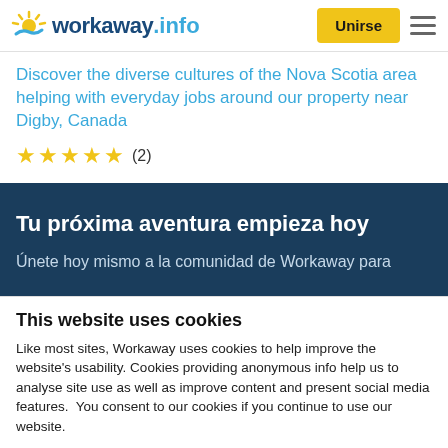workaway.info — Unirse
Discover the diverse cultures of the Nova Scotia area helping with everyday jobs around our property near Digby, Canada
★★★★★ (2)
Tu próxima aventura empieza hoy
Únete hoy mismo a la comunidad de Workaway para
This website uses cookies
Like most sites, Workaway uses cookies to help improve the website's usability. Cookies providing anonymous info help us to analyse site use as well as improve content and present social media features.  You consent to our cookies if you continue to use our website.
OK   Settings